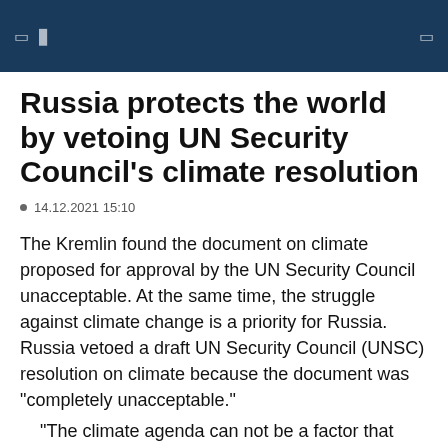Russia protects the world by vetoing UN Security Council's climate resolution
14.12.2021 15:10
The Kremlin found the document on climate proposed for approval by the UN Security Council unacceptable. At the same time, the struggle against climate change is a priority for Russia.
Russia vetoed a draft UN Security Council (UNSC) resolution on climate because the document was "completely unacceptable."
"The climate agenda can not be a factor that